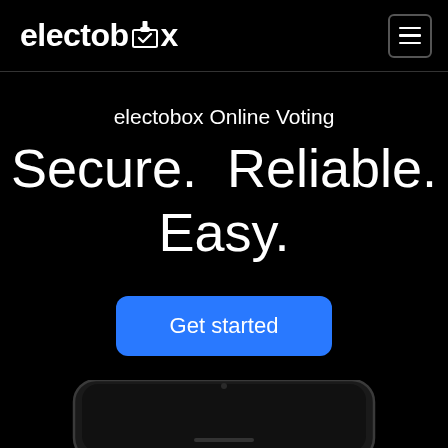electobox
electobox Online Voting Secure. Reliable. Easy.
Get started
Learn more
[Figure (screenshot): Bottom of a smartphone device visible at the bottom of the page, showing partial screen content]